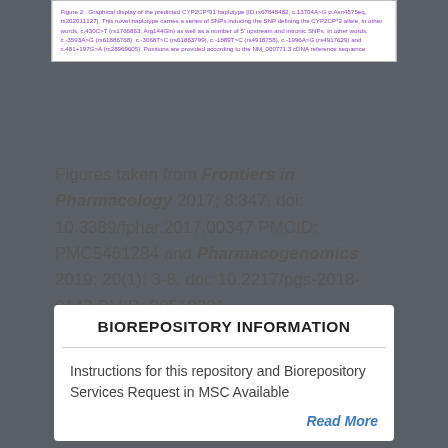Figure 2. Graphical display of the predicted CYP2CP*91 haplotype [ID:rs67848482, c.13704A>G p.Asn4575eq, rs202011127]. This novel haplotype carries a series of SNPs inducing the SNP defining the CYP2CP*2 allele, in other words, c.430C>T (rs1766863; Arg144Gln) as well as a number of 5' upstream and intronic SNPs, in other words, c.-3593A>G (rs61886768), c.-3068T>C (rs61863799), c.-1889T>C (rs4918758), c.-1996A>G (rs4917629) and c.481+197G>A (rs28969605). Positions are provided according to the NM_000771.3 cDNA reference sequence.
Figures taken from Frontiers in Pharmacology 2017; 8:347. doi: 10.3389/fphar.2017.00347 PMCID: PMC5461284 and Pharmacogenomics 2019; 20(1): 3-8. doi: 10.2217/pgs-2018-0143 PMID: 30518301
BIOREPOSITORY INFORMATION
Instructions for this repository and Biorepository Services Request in MSC Available
Read More